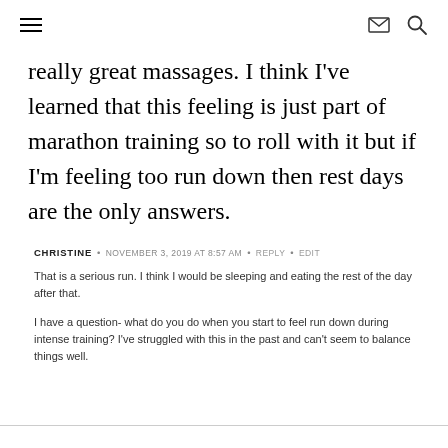≡  ✉ 🔍
really great massages.  I think I've learned that this feeling is just part of marathon training so to roll with it but if I'm feeling too run down then rest days are the only answers.
CHRISTINE  •  NOVEMBER 3, 2019 AT 8:57 AM  •  REPLY  •  EDIT
That is a serious run. I think I would be sleeping and eating the rest of the day after that.
I have a question- what do you do when you start to feel run down during intense training? I've struggled with this in the past and can't seem to balance things well.